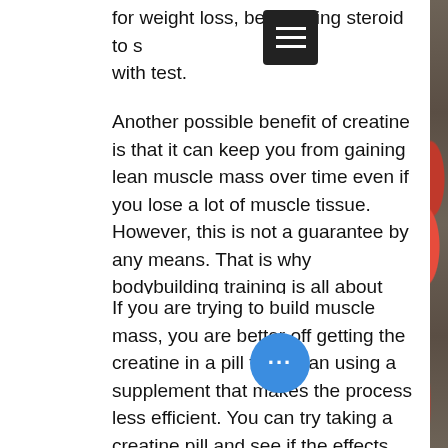for weight loss, best cutting steroid to stack with test.
Another possible benefit of creatine is that it can keep you from gaining lean muscle mass over time even if you lose a lot of muscle tissue. However, this is not a guarantee by any means. That is why bodybuilding training is all about maintaining lean muscle mass and losing a lot of fat, not creating excess muscle mass and building extra muscle, best cutting cycle steroid forum.
If you are trying to build muscle mass, you are better off getting the creatine in a pill form than using a supplement that makes the process less efficient. You can try taking a creatine pill and see if the effects last longer, best cutting anabolic steroid. You also choose the right kind of creatine, if you are looking for some extra help. The main